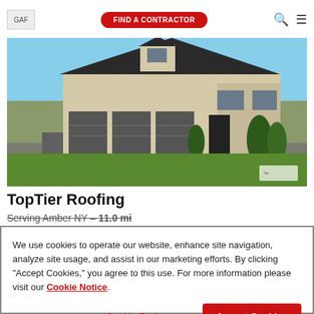GAF | FIND A CONTRACTOR
[Figure (photo): Exterior photo of a large two-story house with a dark shingle roof, beige and stone facade, three-car garage, and landscaped front yard.]
TopTier Roofing
Serving Amber NY - 11.0 mi
We use cookies to operate our website, enhance site navigation, analyze site usage, and assist in our marketing efforts. By clicking "Accept Cookies," you agree to this use. For more information please visit our Cookie Notice.
Cookie Preferences | Accept Cookies